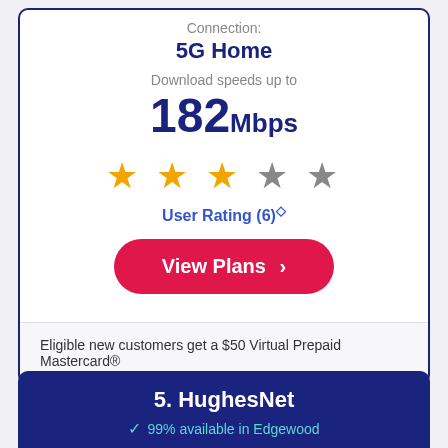Connection:
5G Home
Download speeds up to
182Mbps
[Figure (other): Star rating display showing 3 filled gold stars and 2 empty grey stars]
User Rating (6)◇
View Plans ›
Eligible new customers get a $50 Virtual Prepaid Mastercard®
5. HughesNet
✓ 99% available in Edgewood